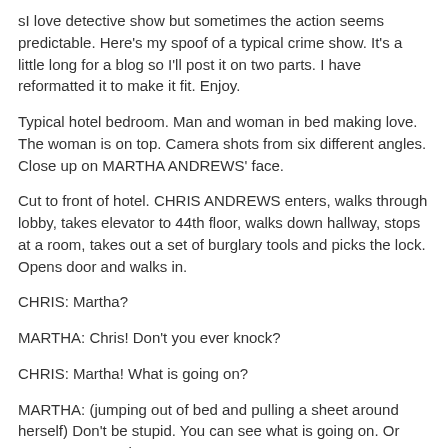sI love detective show but sometimes the action seems predictable. Here's my spoof of a typical crime show. It's a little long for a blog so I'll post it on two parts. I have reformatted it to make it fit. Enjoy.
Typical hotel bedroom. Man and woman in bed making love. The woman is on top. Camera shots from six different angles. Close up on MARTHA ANDREWS' face.
Cut to front of hotel. CHRIS ANDREWS enters, walks through lobby, takes elevator to 44th floor, walks down hallway, stops at a room, takes out a set of burglary tools and picks the lock. Opens door and walks in.
CHRIS: Martha?
MARTHA: Chris! Don't you ever knock?
CHRIS: Martha! What is going on?
MARTHA: (jumping out of bed and pulling a sheet around herself) Don't be stupid. You can see what is going on. Or can't you remember?